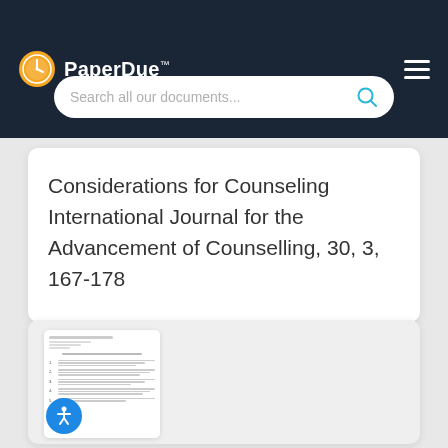PaperDue™
Search all our documents...
Considerations for Counseling International Journal for the Advancement of Counselling, 30, 3, 167-178
[Figure (screenshot): Thumbnail preview of a document page with numbered list items and header text]